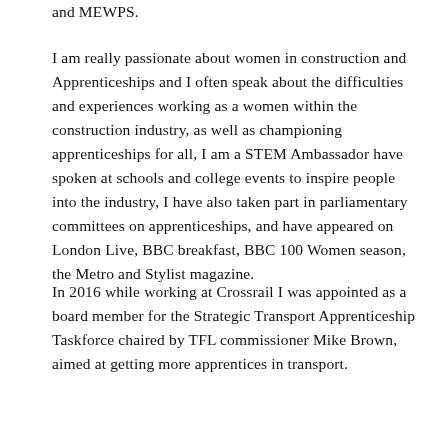and MEWPS.
I am really passionate about women in construction and Apprenticeships and I often speak about the difficulties and experiences working as a women within the construction industry, as well as championing apprenticeships for all, I am a STEM Ambassador have spoken at schools and college events to inspire people into the industry, I have also taken part in parliamentary committees on apprenticeships, and have appeared on London Live, BBC breakfast, BBC 100 Women season, the Metro and Stylist magazine.
In 2016 while working at Crossrail I was appointed as a board member for the Strategic Transport Apprenticeship Taskforce chaired by TFL commissioner Mike Brown, aimed at getting more apprentices in transport.